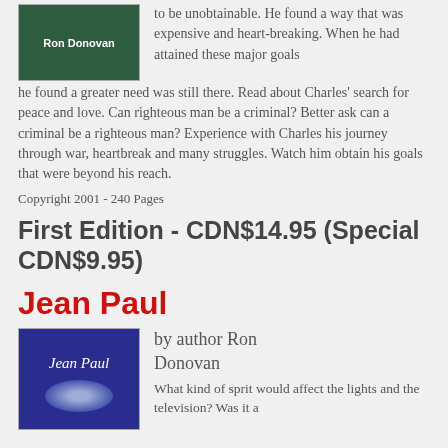[Figure (illustration): Book cover with dark green background and author name Ron Donovan in white text]
to be unobtainable. He found a way that was expensive and heart-breaking. When he had attained these major goals he found a greater need was still there. Read about Charles' search for peace and love. Can righteous man be a criminal? Better ask can a criminal be a righteous man? Experience with Charles his journey through war, heartbreak and many struggles. Watch him obtain his goals that were beyond his reach.
Copyright 2001 - 240 Pages
First Edition - CDN$14.95 (Special CDN$9.95)
Jean Paul
[Figure (illustration): Book cover with blue/indigo background, cursive Jean Paul text, and a glowing circular image of a car]
by author Ron Donovan
What kind of sprit would affect the lights and the television? Was it a